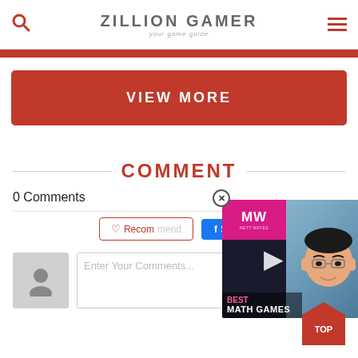ZILLION GAMER — your game guide
[Figure (screenshot): Red strip at top of page content area]
VIEW MORE
COMMENT
0 Comments
[Figure (screenshot): Ad overlay showing BEST MATH GAMES video thumbnail with MW logo and animated face character, with close button]
♡ Recommend
Share
Enter Your Comments...